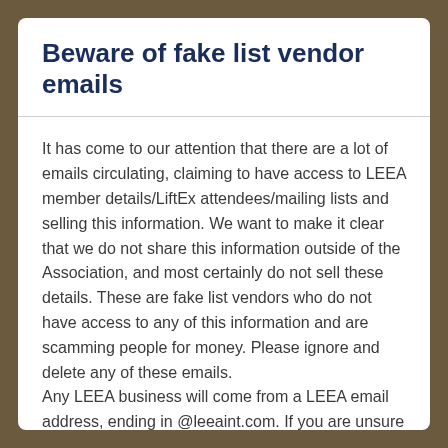Beware of fake list vendor emails
It has come to our attention that there are a lot of emails circulating, claiming to have access to LEEA member details/LiftEx attendees/mailing lists and selling this information. We want to make it clear that we do not share this information outside of the Association, and most certainly do not sell these details. These are fake list vendors who do not have access to any of this information and are scamming people for money. Please ignore and delete any of these emails.
Any LEEA business will come from a LEEA email address, ending in @leeaint.com. If you are unsure of an email and would like to verify with us, please forward it to mail@leeaint.com to check